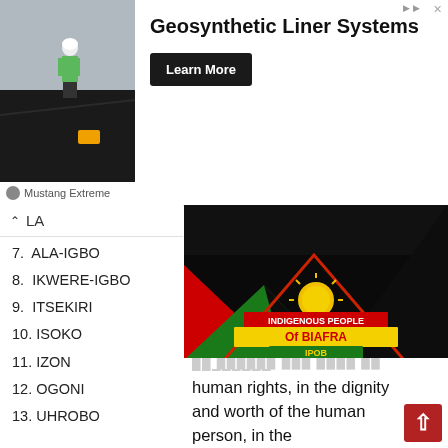[Figure (photo): Advertisement banner: Geosynthetic Liner Systems with photo of worker on black liner, Mustang Extreme branding, Learn More button]
^ LA
7. ALA-IGBO
8. IKWERE-IGBO
9. ITSEKIRI
10. ISOKO
11. IZON
12. OGONI
13. UHROBO
The Purpose of
[Figure (photo): IPOB (Indigenous People of Biafra) logo image with dark background, green/red/yellow triangular design with sun and IPOB text]
Stop Linking ESN With Unknown Gunmen Attacking Security Agents - IPOB Warns
IPOB PRESS RELEASE March 30 2021 | IPOBThe attention of the Indigenous People of Biafra (IPOB) has been drawn to the un
human rights, in the dignity and worth of the human person, in the